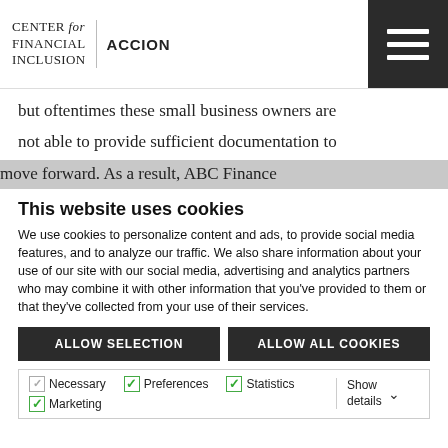CENTER for FINANCIAL INCLUSION | ACCION
but oftentimes these small business owners are not able to provide sufficient documentation to move forward. As a result, ABC Finance
This website uses cookies
We use cookies to personalize content and ads, to provide social media features, and to analyze our traffic. We also share information about your use of our site with our social media, advertising and analytics partners who may combine it with other information that you've provided to them or that they've collected from your use of their services.
ALLOW SELECTION | ALLOW ALL COOKIES
Necessary | Preferences | Statistics | Marketing | Show details